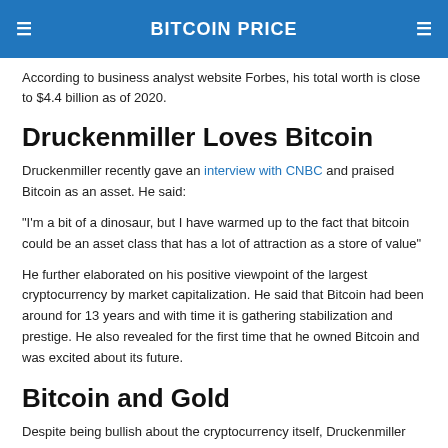BITCOIN PRICE
According to business analyst website Forbes, his total worth is close to $4.4 billion as of 2020.
Druckenmiller Loves Bitcoin
Druckenmiller recently gave an interview with CNBC and praised Bitcoin as an asset. He said:
“I’m a bit of a dinosaur, but I have warmed up to the fact that bitcoin could be an asset class that has a lot of attraction as a store of value”
He further elaborated on his positive viewpoint of the largest cryptocurrency by market capitalization. He said that Bitcoin had been around for 13 years and with time it is gathering stabilization and prestige. He also revealed for the first time that he owned Bitcoin and was excited about its future.
Bitcoin and Gold
Despite being bullish about the cryptocurrency itself, Druckenmiller revealed that much of his portfolio is made up of